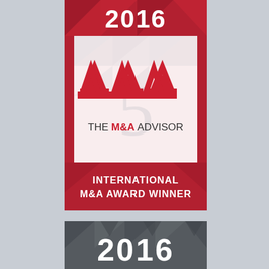[Figure (logo): 2016 The M&A Advisor International M&A Award Winner badge — red and white design with geometric triangle pattern, three red chevron/arrow shapes forming an M logo, text 'THE M&A ADVISOR' with M&A in red, and 'INTERNATIONAL M&A AWARD WINNER' in white on red background at bottom]
[Figure (logo): 2016 award badge — dark gray/charcoal design with geometric triangle pattern and large '2016' text in white, partial view cropped at bottom of page]